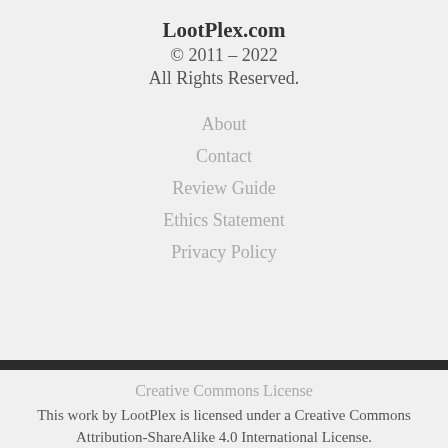LootPlex.com
© 2011 – 2022
All Rights Reserved.
About
Contact
Review Guide
Ethics Statement
Privacy Policy
Creative Commons License
This work by LootPlex is licensed under a Creative Commons Attribution-ShareAlike 4.0 International License.
Advertisements
[Figure (screenshot): Advertisement banner: Content Analytics Made Easy, Get A Demo button, Parse.ly logo]